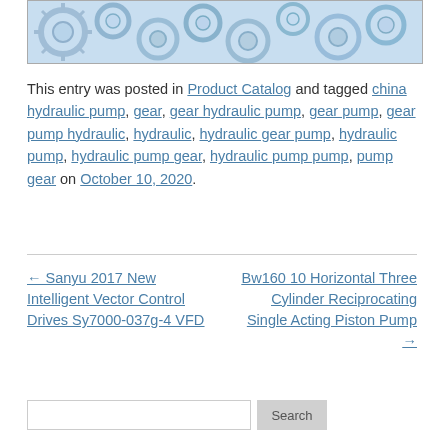[Figure (illustration): Banner image with repeating gear/cog pattern in blue-grey tones]
This entry was posted in Product Catalog and tagged china hydraulic pump, gear, gear hydraulic pump, gear pump, gear pump hydraulic, hydraulic, hydraulic gear pump, hydraulic pump, hydraulic pump gear, hydraulic pump pump, pump gear on October 10, 2020.
← Sanyu 2017 New Intelligent Vector Control Drives Sy7000-037g-4 VFD
Bw160 10 Horizontal Three Cylinder Reciprocating Single Acting Piston Pump →